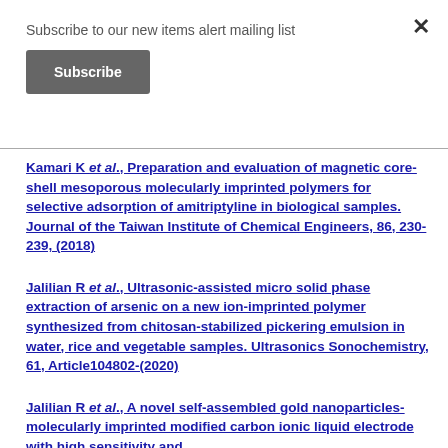Subscribe to our new items alert mailing list
Subscribe
Kamari K et al., Preparation and evaluation of magnetic core-shell mesoporous molecularly imprinted polymers for selective adsorption of amitriptyline in biological samples. Journal of the Taiwan Institute of Chemical Engineers, 86, 230-239, (2018)
Jalilian R et al., Ultrasonic-assisted micro solid phase extraction of arsenic on a new ion-imprinted polymer synthesized from chitosan-stabilized pickering emulsion in water, rice and vegetable samples. Ultrasonics Sonochemistry, 61, Article104802-(2020)
Jalilian R et al., A novel self-assembled gold nanoparticles-molecularly imprinted modified carbon ionic liquid electrode with high sensitivity and